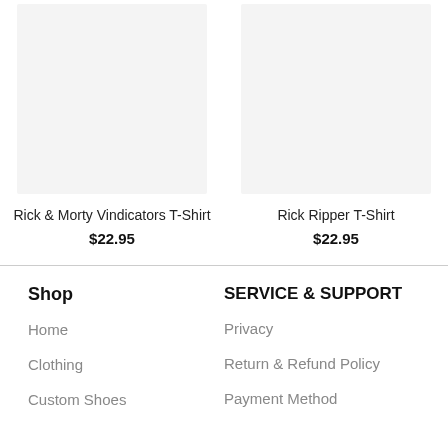[Figure (photo): Product image placeholder for Rick & Morty Vindicators T-Shirt (light gray box)]
Rick & Morty Vindicators T-Shirt
$22.95
[Figure (photo): Product image placeholder for Rick Ripper T-Shirt (light gray box)]
Rick Ripper T-Shirt
$22.95
Shop
Home
Clothing
Custom Shoes
SERVICE & SUPPORT
Privacy
Return & Refund Policy
Payment Method